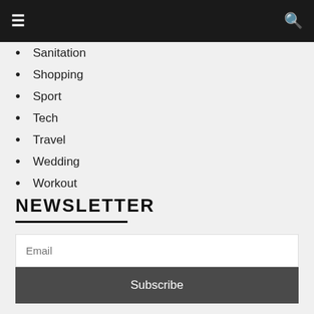Navigation bar with hamburger menu and search icon
Sanitation
Shopping
Sport
Tech
Travel
Wedding
Workout
NEWSLETTER
Email
Subscribe
FEATURED